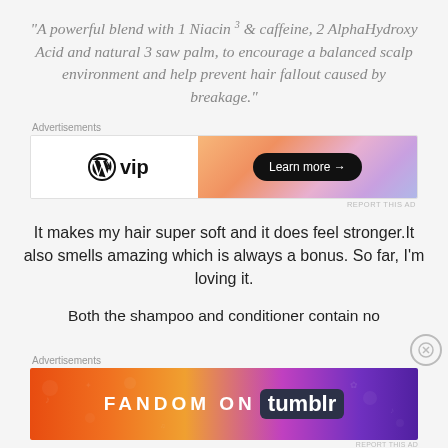"A powerful blend with 1 Niacin³ & caffeine, 2 AlphaHydroxy Acid and natural 3 saw palm, to encourage a balanced scalp environment and help prevent hair fallout caused by breakage."
[Figure (other): Advertisement banner for WordPress VIP with a gradient orange-pink-purple background and a 'Learn more →' button]
It makes my hair super soft and it does feel stronger.It also smells amazing which is always a bonus. So far, I'm loving it.
Both the shampoo and conditioner contain no
[Figure (other): Advertisement banner for Fandom on Tumblr with colorful gradient background and white text]